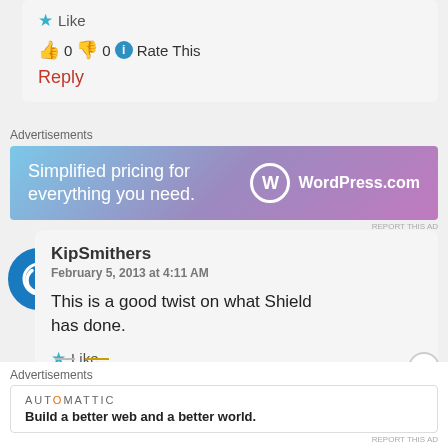★ Like
👍 0 👎 0 ℹ Rate This
Reply
Advertisements
[Figure (other): WordPress.com advertisement banner: 'Simplified pricing for everything you need.']
KipSmithers
February 5, 2013 at 4:11 AM
This is a good twist on what Shield has done.
★ Like
Advertisements
[Figure (other): Automattic advertisement: 'Build a better web and a better world.']